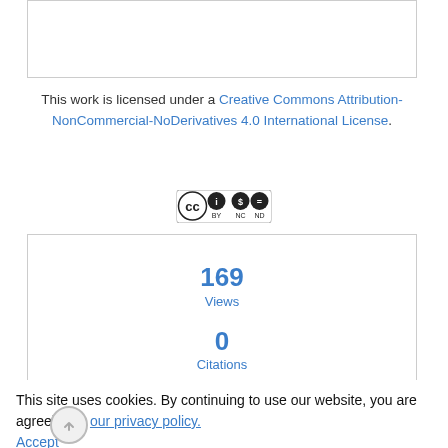This work is licensed under a Creative Commons Attribution-NonCommercial-NoDerivatives 4.0 International License.
[Figure (logo): Creative Commons BY NC ND license badge]
169
Views
0
Citations
View Metrics
This site uses cookies. By continuing to use our website, you are agreeing to our privacy policy. Accept